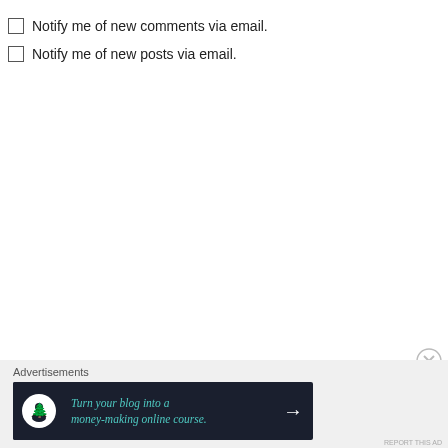Notify me of new comments via email.
Notify me of new posts via email.
Advertisements
[Figure (infographic): Dark banner advertisement: 'Turn your blog into a money-making online course.' with an arrow icon and a tree/person logo.]
REPORT THIS AD